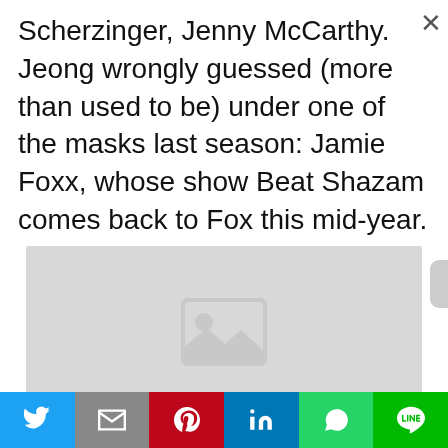Scherzinger, Jenny McCarthy. Jeong wrongly guessed (more than used to be) under one of the masks last season: Jamie Foxx, whose show Beat Shazam comes back to Fox this mid-year.
[Figure (photo): Image placeholder (grey rectangle with landscape/photo icon)]